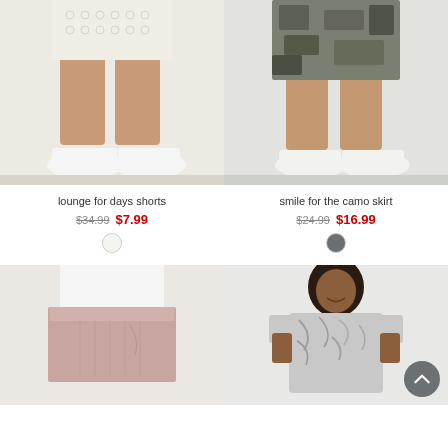[Figure (photo): Model's lower body wearing white lace/crochet shorts with white sneakers against white brick wall background]
lounge for days shorts
$34.99  $7.99
[Figure (photo): Color swatch: white/cream circle]
[Figure (photo): Model's lower body wearing camo print mini skirt with white sneakers against white brick wall background]
smile for the camo skirt
$24.99  $16.99
[Figure (photo): Color swatch: dark gray/slate circle]
[Figure (photo): Model wearing dusty pink/mauve shorts with white top, partial view from waist down]
[Figure (photo): Model wearing abstract print gray/white t-shirt, smiling, curly hair, partial view from waist up]